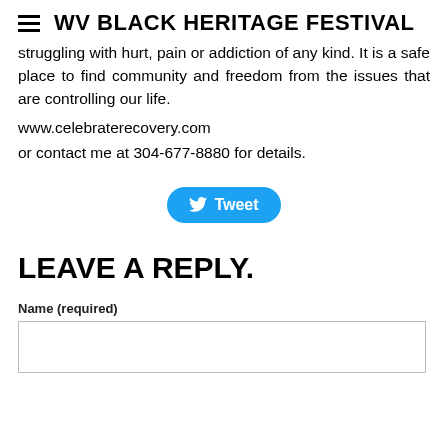WV BLACK HERITAGE FESTIVAL
struggling with hurt, pain or addiction of any kind. It is a safe place to find community and freedom from the issues that are controlling our life.
www.celebraterecovery.com
or contact me at 304-677-8880 for details.
[Figure (other): Tweet button with Twitter bird icon]
LEAVE A REPLY.
Name (required)